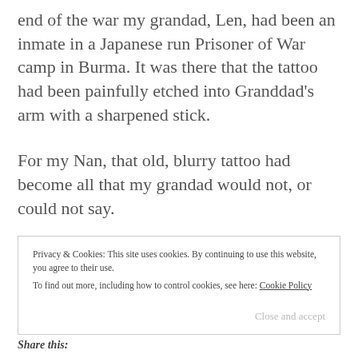end of the war my grandad, Len, had been an inmate in a Japanese run Prisoner of War camp in Burma. It was there that the tattoo had been painfully etched into Granddad's arm with a sharpened stick.
For my Nan, that old, blurry tattoo had become all that my grandad would not, or could not say.
Privacy & Cookies: This site uses cookies. By continuing to use this website, you agree to their use. To find out more, including how to control cookies, see here: Cookie Policy
Close and accept
Share this: